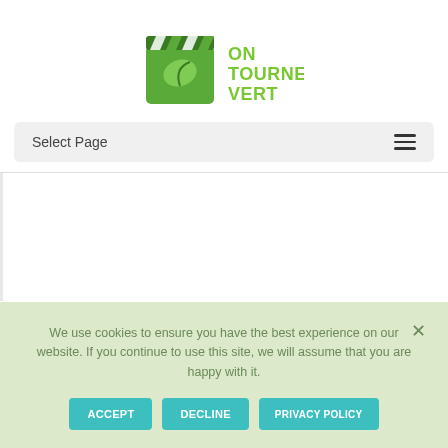[Figure (logo): On Tourne Vert logo with green film clapperboard icon and green text reading ON TOURNE VERT]
Select Page
[Figure (infographic): Large white/light content area below navigation]
We use cookies to ensure you have the best experience on our website. If you continue to use this site, we will assume that you are happy with it.
ACCEPT | DECLINE | PRIVACY POLICY